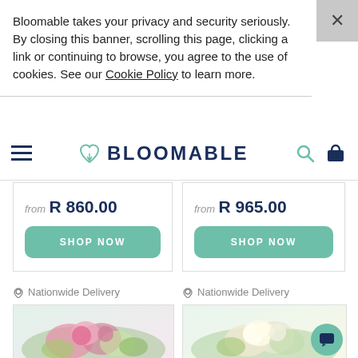Bloomable takes your privacy and security seriously. By closing this banner, scrolling this page, clicking a link or continuing to browse, you agree to the use of cookies. See our Cookie Policy to learn more.
[Figure (logo): Bloomable logo with heart icon and hamburger menu, search and cart icons]
from R 860.00
SHOP NOW
from R 965.00
SHOP NOW
Nationwide Delivery
Nationwide Delivery
[Figure (photo): Pink and white flower bouquet arrangement]
[Figure (photo): White and cream flower bouquet arrangement]